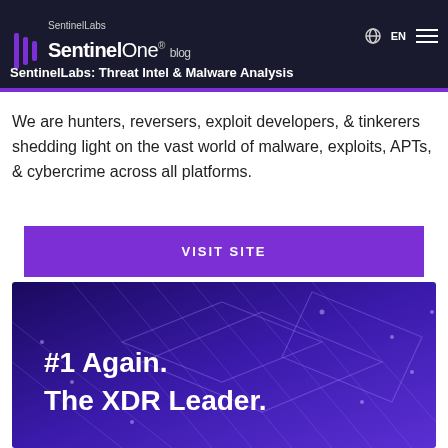SentinelLabs | SentinelOne blog | SentinelLabs: Threat Intel & Malware Analysis
We are hunters, reversers, exploit developers, & tinkerers shedding light on the vast world of malware, exploits, APTs, & cybercrime across all platforms.
VISIT SITE
[Figure (illustration): Dark blue/purple background with circuit-board style network lines and dots pattern, with white bold text '#1 Again. The XDR Leader.']